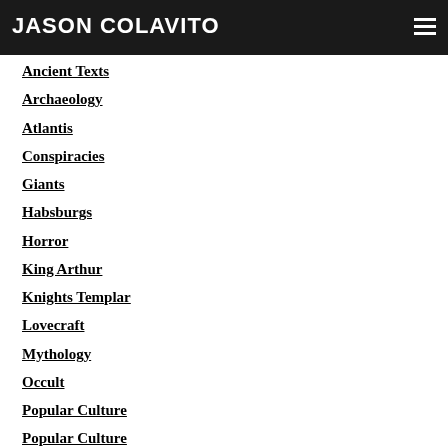JASON COLAVITO
Ancient Texts
Archaeology
Atlantis
Conspiracies
Giants
Habsburgs
Horror
King Arthur
Knights Templar
Lovecraft
Mythology
Occult
Popular Culture
Popular Culture
Projects
Pyramids
Racism